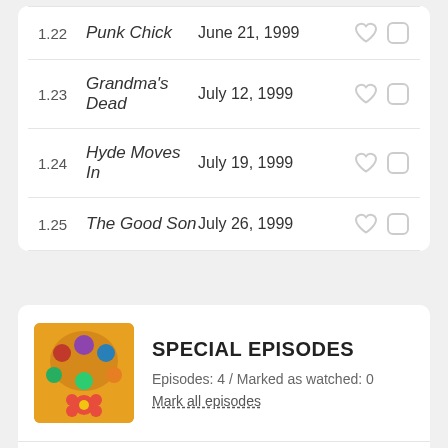| # | EPISODE TITLE | DATE | ACTIONS |
| --- | --- | --- | --- |
| 1.22 | Punk Chick | June 21, 1999 |  |
| 1.23 | Grandma's Dead | July 12, 1999 |  |
| 1.24 | Hyde Moves In | July 19, 1999 |  |
| 1.25 | The Good Son | July 26, 1999 |  |
SPECIAL EPISODES
Episodes: 4  /  Marked as watched: 0
Mark all episodes
| # | EPISODE TITLE | DATE | ACTIONS |
| --- | --- | --- | --- |
| 0.01 | That '70s Special | April 30, 2002 |  |
| 0.02 | That '70s KISS Show | August 30, 2002 |  |